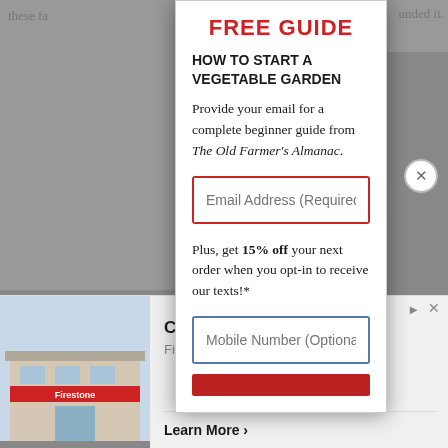FREE GUIDE
HOW TO START A VEGETABLE GARDEN
Provide your email for a complete beginner guide from The Old Farmer's Almanac.
Email Address (Required)
Plus, get 15% off your next order when you opt-in to receive our texts!*
Mobile Number (Optional)
[Figure (screenshot): Ad banner for Firestone Complete Brake Services with building photo, text 'Complete Brake Services', 'Firestone', and 'Learn More >' link]